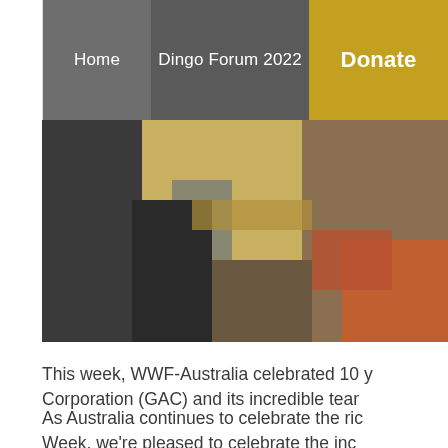Home | Dingo Forum 2022 | Donate
[Figure (photo): Blurred photograph of people at an event, showing figures in dark and yellow/tan clothing indoors.]
This week, WWF-Australia celebrated 10 y... Corporation (GAC) and its incredible tear...
As Australia continues to celebrate the ric... Week, we're pleased to celebrate the inc...